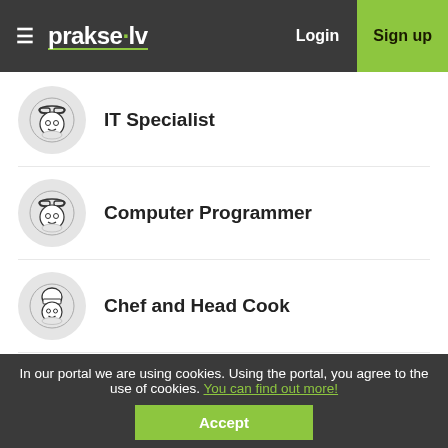prakse.lv — Login — Sign up
IT Specialist
Computer Programmer
Chef and Head Cook
Building Manager
In our portal we are using cookies. Using the portal, you agree to the use of cookies. You can find out more!
Accept